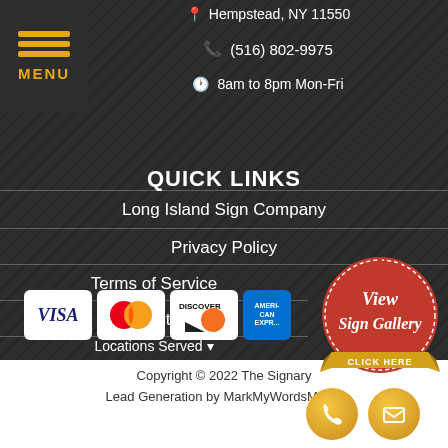[Figure (screenshot): Hamburger menu button with orange lines and MENU text on dark background, top-left corner]
Hempstead, NY 11550
(516) 802-9975
8am to 8pm Mon-Fri
QUICK LINKS
Long Island Sign Company
Privacy Policy
Terms of Service
Contact Us
Locations Served ▾
[Figure (logo): Payment method logos: VISA, Mastercard, Discover, American Express]
[Figure (illustration): Red wax seal badge with View Sign Gallery text and gold CLICK HERE ribbon banner]
Copyright © 2022 The Signary
Lead Generation by MarkMyWordsMedia
[Figure (illustration): Gold phone icon circle button]
[Figure (illustration): Gold email envelope icon circle button]